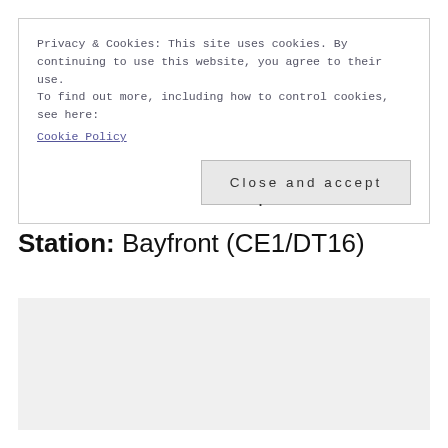Privacy & Cookies: This site uses cookies. By continuing to use this website, you agree to their use.
To find out more, including how to control cookies, see here:
Cookie Policy
[Close and accept]
Station: Bayfront (CE1/DT16)